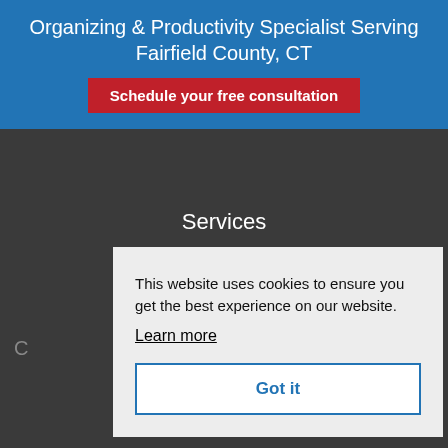Organizing & Productivity Specialist Serving Fairfield County, CT
Schedule your free consultation
Services
Contact
Privacy Policy
This website uses cookies to ensure you get the best experience on our website.
Learn more
Got it